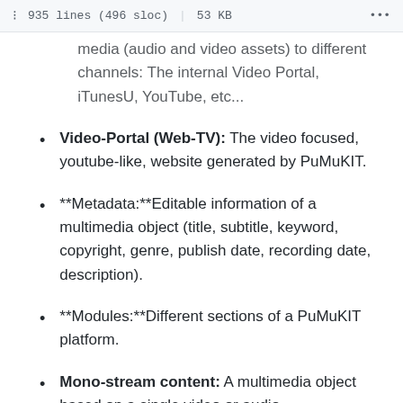935 lines (496 sloc) | 53 KB
media (audio and video assets) to different channels: The internal Video Portal, iTunesU, YouTube, etc...
Video-Portal (Web-TV): The video focused, youtube-like, website generated by PuMuKIT.
**Metadata:**Editable information of a multimedia object (title, subtitle, keyword, copyright, genre, publish date, recording date, description).
**Modules:**Different sections of a PuMuKIT platform.
Mono-stream content: A multimedia object based on a single video or audio.